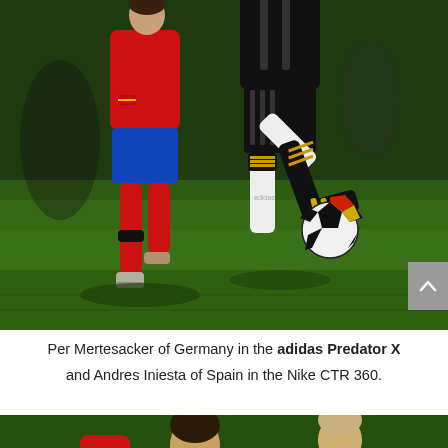[Figure (photo): Soccer match action photo showing Per Mertesacker of Germany (black and white kit with black/gold socks, wearing adidas Predator X cleats, kicking the ball) and Andres Iniesta of Spain (red jersey, blue shorts, red socks) competing for the ball on a grass field.]
Per Mertesacker of Germany in the adidas Predator X and Andres Iniesta of Spain in the Nike CTR 360.
[Figure (photo): Second soccer match action photo showing players competing, with one player in red (Spain) and another in white/black (Germany), partially visible at the bottom of the page.]